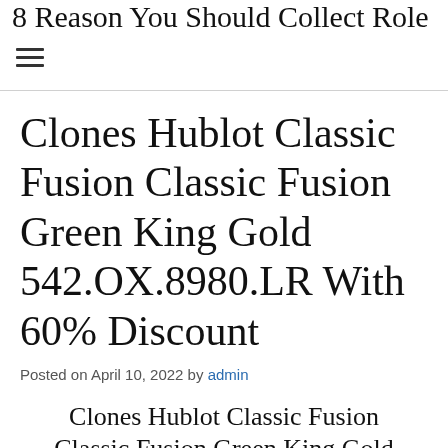8 Reason You Should Collect Role
Clones Hublot Classic Fusion Classic Fusion Green King Gold 542.OX.8980.LR With 60% Discount
Posted on April 10, 2022 by admin
Clones Hublot Classic Fusion Classic Fusion Green King Gold